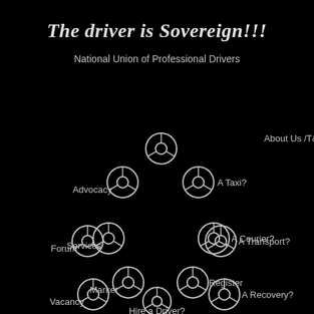The driver is Sovereign!!!
National Union of Professional Drivers
[Figure (infographic): Navigation menu with steering wheel icons and labels: About Us /T&C, Advocacy, A Taxi?, Services, A Courier?, Vacancy, A Recovery?, Forum, A Transport?, Market, Register, Hire a Driver?]